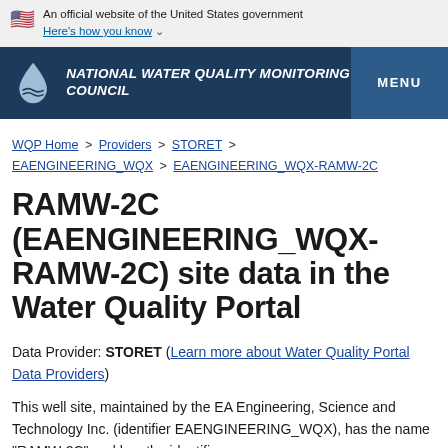An official website of the United States government
Here's how you know
NATIONAL WATER QUALITY MONITORING COUNCIL | MENU
WQP Home > Providers > STORET > EAENGINEERING_WQX > EAENGINEERING_WQX-RAMW-2C
RAMW-2C (EAENGINEERING_WQX-RAMW-2C) site data in the Water Quality Portal
Data Provider: STORET (Learn more about Water Quality Portal Data Providers)
This well site, maintained by the EA Engineering, Science and Technology Inc. (identifier EAENGINEERING_WQX), has the name "RAMW-2C" and has the identifier